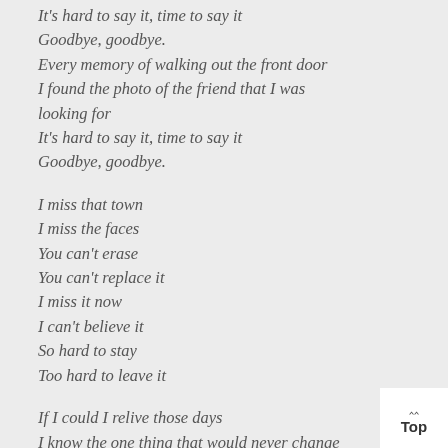It's hard to say it, time to say it
Goodbye, goodbye.
Every memory of walking out the front door
I found the photo of the friend that I was looking for
It's hard to say it, time to say it
Goodbye, goodbye.

I miss that town
I miss the faces
You can't erase
You can't replace it
I miss it now
I can't believe it
So hard to stay
Too hard to leave it

If I could I relive those days
I know the one thing that would never change

Every memory of looking out the back door
I had the photo album spread out on my bedroom floor